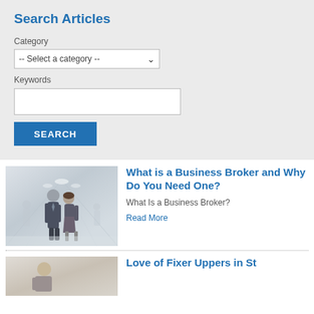Search Articles
Category
-- Select a category --
Keywords
SEARCH
What is a Business Broker and Why Do You Need One?
What Is a Business Broker?
Read More
Love of Fixer Uppers in St